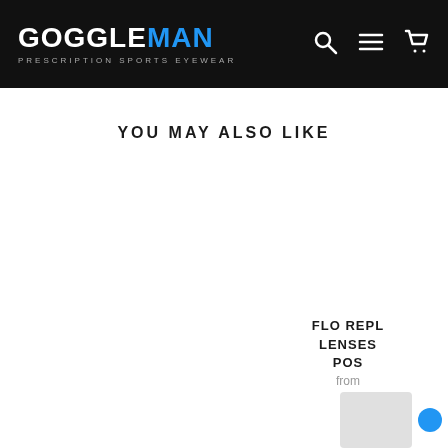GOGGLEMAN - PRESCRIPTION SPORTS EYEWEAR
YOU MAY ALSO LIKE
FLO REPLACEMENT LENSES POSSIBLE from
[Figure (photo): Partially visible product thumbnail image of sports goggles in light grey color, bottom right corner]